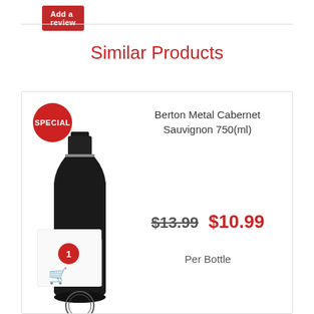Add a review
Similar Products
[Figure (photo): Wine bottle product card for Berton Metal Cabernet Sauvignon 750ml with SPECIAL badge, showing original price $13.99 crossed out and sale price $10.99, labeled Per Bottle, with cart icon and quantity badge showing 1]